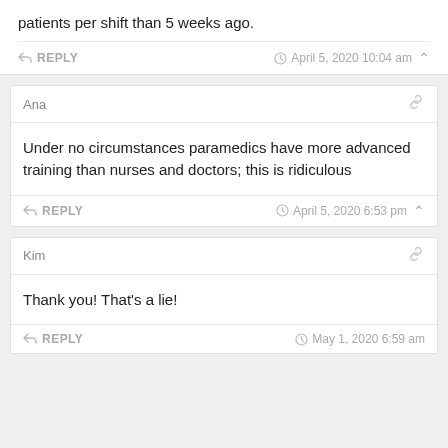patients per shift than 5 weeks ago.
REPLY   April 5, 2020 10:04 am
Ana
Under no circumstances paramedics have more advanced training than nurses and doctors; this is ridiculous
REPLY   April 5, 2020 6:53 pm
Kim
Thank you! That's a lie!
REPLY   May 1, 2020 6:59 am